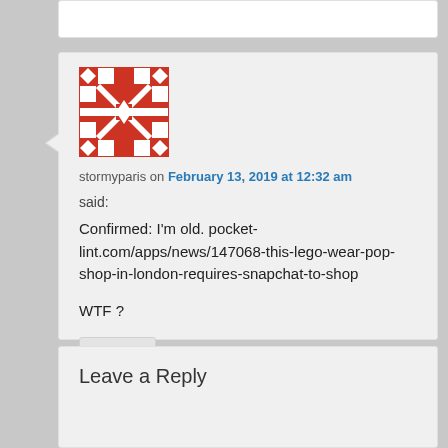[Figure (illustration): Identicon/avatar image with red and white geometric pattern]
stormyparis on February 13, 2019 at 12:32 am
said:
Confirmed: I'm old. pocket-lint.com/apps/news/147068-this-lego-wear-pop-shop-in-london-requires-snapchat-to-shop
WTF ?
Reply ↓
Leave a Reply